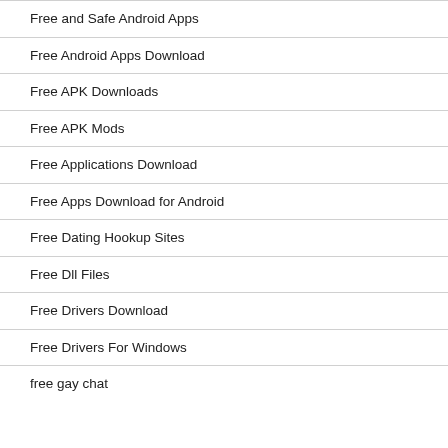Free and Safe Android Apps
Free Android Apps Download
Free APK Downloads
Free APK Mods
Free Applications Download
Free Apps Download for Android
Free Dating Hookup Sites
Free Dll Files
Free Drivers Download
Free Drivers For Windows
free gay chat